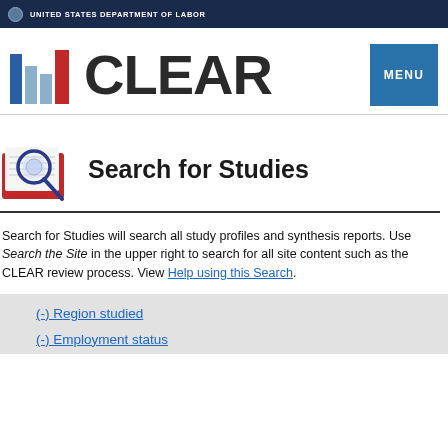UNITED STATES DEPARTMENT OF LABOR
[Figure (logo): CLEAR logo with bar chart icon and MENU button]
Search for Studies
Search for Studies will search all study profiles and synthesis reports. Use Search the Site in the upper right to search for all site content such as the CLEAR review process. View Help using this Search.
(-) Region studied
(-) Employment status